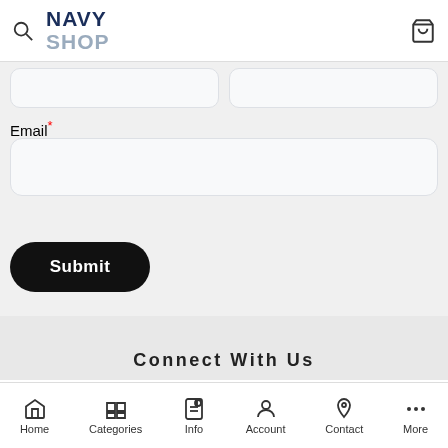[Figure (logo): Navy Shop logo with search icon on left and cart icon on right in header]
[Figure (screenshot): Two half-width input fields side by side]
Email*
[Figure (screenshot): Full-width email input field]
Submit
Connect With Us
[Figure (infographic): Payment method logos: MasterCard, PayPal, VISA, Afterpay]
Home | Categories | Info | Account | Contact | More